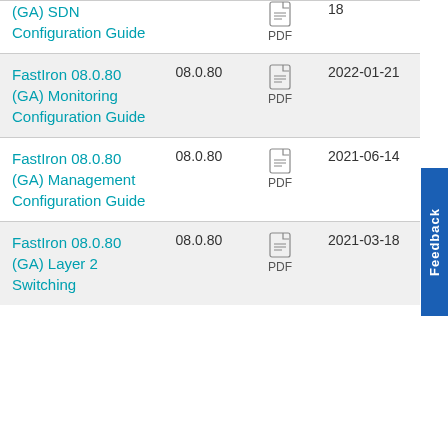| Document | Version | Format | Date |
| --- | --- | --- | --- |
| (GA) SDN Configuration Guide |  | PDF | 18 |
| FastIron 08.0.80 (GA) Monitoring Configuration Guide | 08.0.80 | PDF | 2022-01-21 |
| FastIron 08.0.80 (GA) Management Configuration Guide | 08.0.80 | PDF | 2021-06-14 |
| FastIron 08.0.80 (GA) Layer 2 Switching | 08.0.80 | PDF | 2021-03-18 |